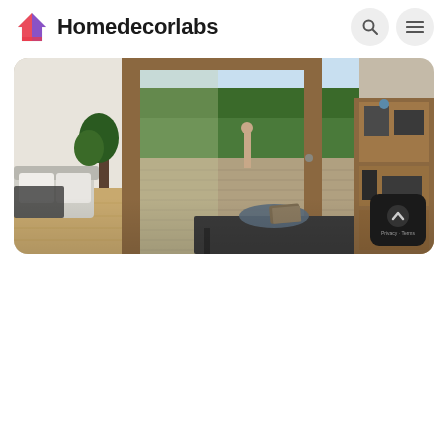Homedecorlabs
[Figure (photo): A modern living room interior with a large wooden-framed sliding glass door opening onto a wooden deck with trees and landscape in the background. A dark table with a decorative bowl and book in the foreground, and wooden furniture/shelving on the right side.]